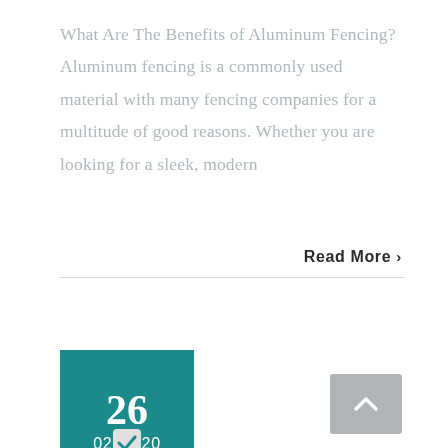What Are The Benefits of Aluminum Fencing? Aluminum fencing is a commonly used material with many fencing companies for a multitude of good reasons. Whether you are looking for a sleek, modern
Read More ›
26
02, 2020